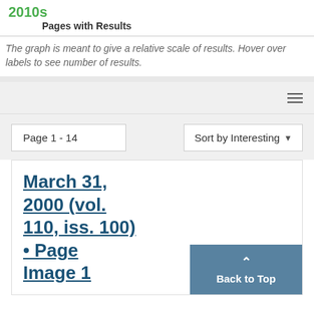2010s
Pages with Results
The graph is meant to give a relative scale of results. Hover over labels to see number of results.
Page 1 - 14
Sort by Interesting
March 31, 2000 (vol. 110, iss. 100) • Page Image 1